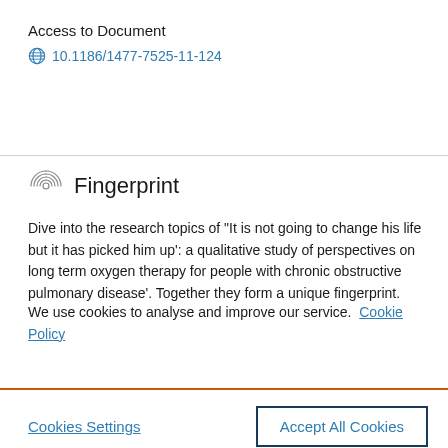Access to Document
10.1186/1477-7525-11-124
Fingerprint
Dive into the research topics of "It is not going to change his life but it has picked him up': a qualitative study of perspectives on long term oxygen therapy for people with chronic obstructive pulmonary disease'. Together they form a unique fingerprint.
We use cookies to analyse and improve our service. Cookie Policy
Cookies Settings
Accept All Cookies